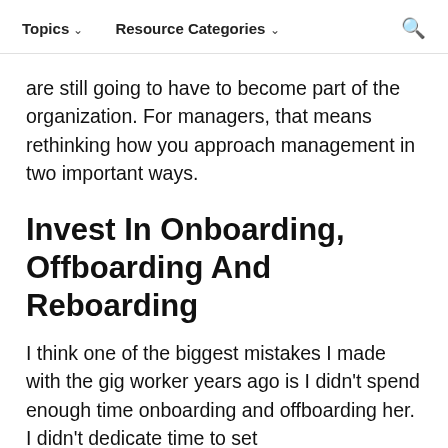Topics ↓   Resource Categories ↓   🔍
are still going to have to become part of the organization. For managers, that means rethinking how you approach management in two important ways.
Invest In Onboarding, Offboarding And Reboarding
I think one of the biggest mistakes I made with the gig worker years ago is I didn't spend enough time onboarding and offboarding her. I didn't dedicate time to set